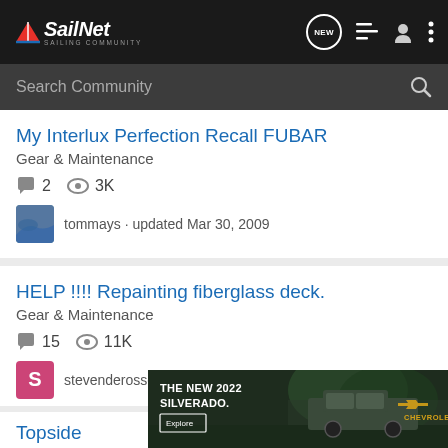SailNet SAILING COMMUNITY
Search Community
My Interlux Perfection Recall FUBAR
Gear & Maintenance
2 replies · 3K views
tommays · updated Mar 30, 2009
HELP !!!! Repainting fiberglass deck.
Gear & Maintenance
15 replies · 11K views
stevenderossett · updated Jul 23, 2020
[Figure (photo): Chevrolet Silverado 2022 advertisement banner with truck image and Chevrolet logo]
Topside … ns
Gear &